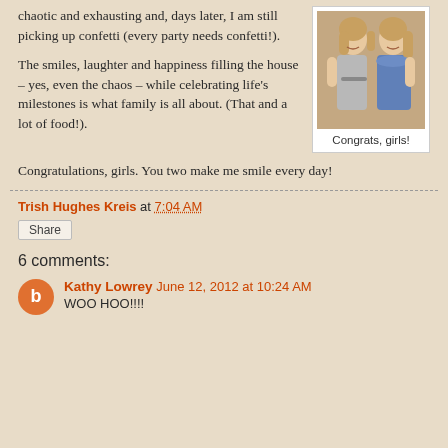chaotic and exhausting and, days later, I am still picking up confetti (every party needs confetti!).
The smiles, laughter and happiness filling the house – yes, even the chaos – while celebrating life's milestones is what family is all about. (That and a lot of food!).
[Figure (photo): Two young women standing together, one in a light gray dress and one in a blue dress]
Congrats, girls!
Congratulations, girls. You two make me smile every day!
Trish Hughes Kreis at 7:04 AM
Share
6 comments:
Kathy Lowrey June 12, 2012 at 10:24 AM
WOO HOO!!!!